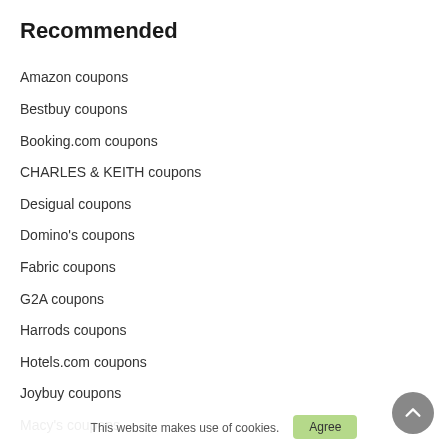Recommended
Amazon coupons
Bestbuy coupons
Booking.com coupons
CHARLES & KEITH coupons
Desigual coupons
Domino's coupons
Fabric coupons
G2A coupons
Harrods coupons
Hotels.com coupons
Joybuy coupons
Macy's coupons
Neiman Marcus coupons
PrettyLittleThing coupons
About us
This website makes use of cookies.